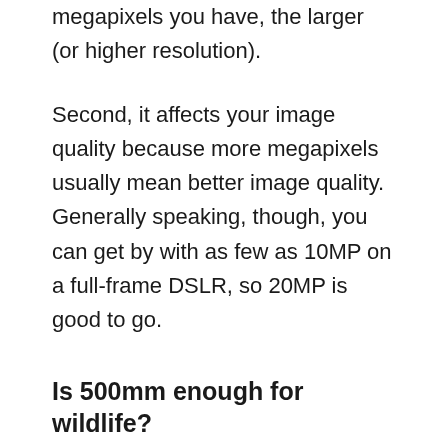megapixels you have, the larger (or higher resolution).
Second, it affects your image quality because more megapixels usually mean better image quality. Generally speaking, though, you can get by with as few as 10MP on a full-frame DSLR, so 20MP is good to go.
Is 500mm enough for wildlife?
You might be wondering how long a lens you need if you're planning on shooting wildlife. The answer depends on a few factors, including the subject matter and the focal